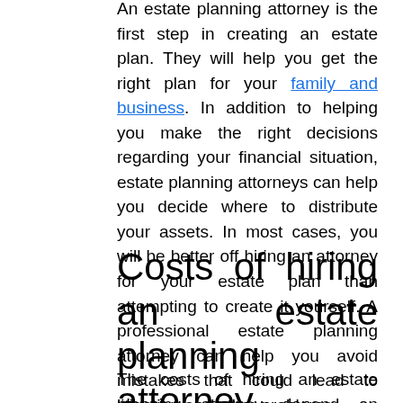An estate planning attorney is the first step in creating an estate plan. They will help you get the right plan for your family and business. In addition to helping you make the right decisions regarding your financial situation, estate planning attorneys can help you decide where to distribute your assets. In most cases, you will be better off hiring an attorney for your estate plan than attempting to create it yourself. A professional estate planning attorney can help you avoid mistakes that could lead to litigation and other problems.
Costs of hiring an estate planning attorney
The costs of hiring an estate planning attorney depend on several factors. In California, fees are